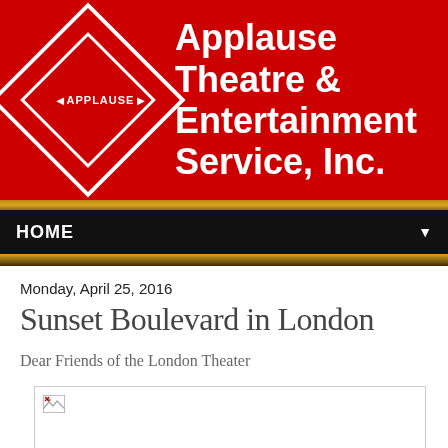[Figure (logo): Applause Theatre & Entertainment Service, Inc. logo — red banner with diamond-shaped logo on left and company name in white bold text on right]
HOME
Monday, April 25, 2016
Sunset Boulevard in London
Dear Friends of the London Theater
[Figure (photo): Image placeholder (broken image icon) — large white rectangle with border]